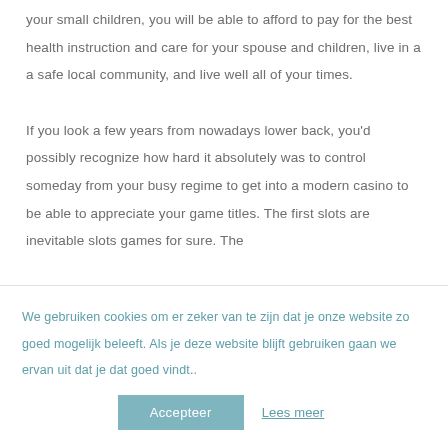your small children, you will be able to afford to pay for the best health instruction and care for your spouse and children, live in a a safe local community, and live well all of your times.

If you look a few years from nowadays lower back, you'd possibly recognize how hard it absolutely was to control someday from your busy regime to get into a modern casino to be able to appreciate your game titles. The first slots are inevitable slots games for sure. The
We gebruiken cookies om er zeker van te zijn dat je onze website zo goed mogelijk beleeft. Als je deze website blijft gebruiken gaan we ervan uit dat je dat goed vindt..